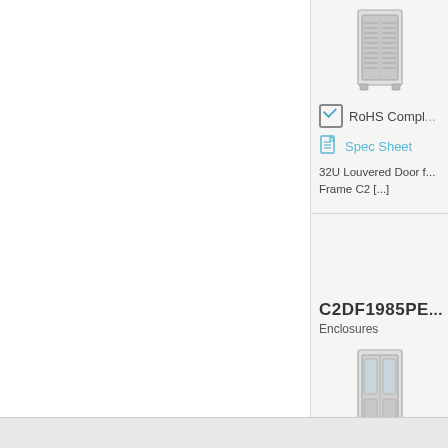[Figure (photo): Product image of a server rack enclosure (32U louvered door)]
RoHS Compl...
Spec Sheet
32U Louvered Door for Frame C2 [...]
C2DF1985PE...
Enclosures
[Figure (photo): Product image of a server rack enclosure (49U window door)]
RoHS Compl...
Spec Sheet
49U Window Door for Frame C2 [...]